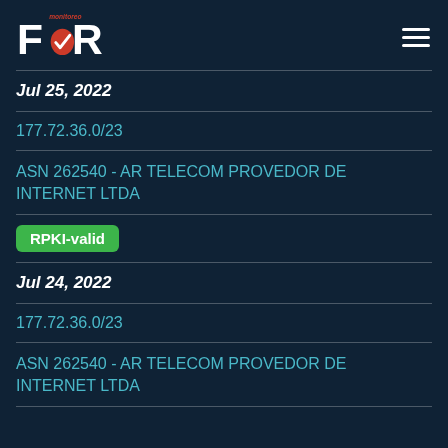FORT monitoreo
Jul 25, 2022
177.72.36.0/23
ASN 262540 - AR TELECOM PROVEDOR DE INTERNET LTDA
RPKI-valid
Jul 24, 2022
177.72.36.0/23
ASN 262540 - AR TELECOM PROVEDOR DE INTERNET LTDA